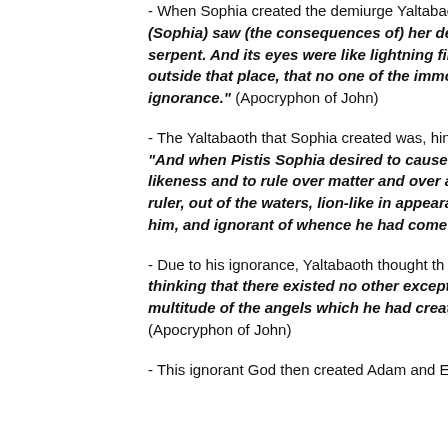- When Sophia created the demiurge Yaltabaoth… (Sophia) saw (the consequences of) her desire… serpent. And its eyes were like lightning fires… outside that place, that no one of the immortals… ignorance." (Apocryphon of John)
- The Yaltabaoth that Sophia created was, him… "And when Pistis Sophia desired to cause the… likeness and to rule over matter and over all… ruler, out of the waters, lion-like in appearance… him, and ignorant of whence he had come int…
- Due to his ignorance, Yaltabaoth thought th… thinking that there existed no other except h… multitude of the angels which he had created… (Apocryphon of John)
- This ignorant God then created Adam and E…